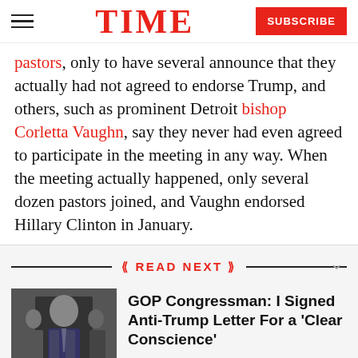TIME — SUBSCRIBE
pastors, only to have several announce that they actually had not agreed to endorse Trump, and others, such as prominent Detroit bishop Corletta Vaughn, say they never had even agreed to participate in the meeting in any way. When the meeting actually happened, only several dozen pastors joined, and Vaughn endorsed Hillary Clinton in January.
READ NEXT
GOP Congressman: I Signed Anti-Trump Letter For a 'Clear Conscience'